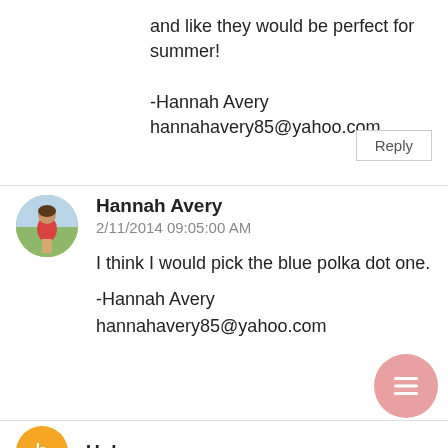and like they would be perfect for summer!

-Hannah Avery
hannahavery85@yahoo.com
Reply
Hannah Avery
2/11/2014 09:05:00 AM

I think I would pick the blue polka dot one.

-Hannah Avery
hannahavery85@yahoo.com
[Figure (photo): Circular avatar photo of Hannah Avery showing a woman in a red outfit outdoors]
Unknown
[Figure (logo): Orange circular Blogger avatar icon for Unknown commenter]
[Figure (other): Pink circular floating action button with three white horizontal lines (menu/hamburger icon)]